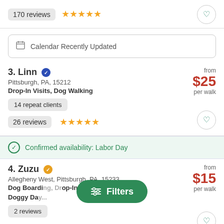170 reviews ★★★★★
Calendar Recently Updated
3. Linn Pittsburgh, PA, 15212 Drop-In Visits, Dog Walking from $25 per walk 14 repeat clients 26 reviews ★★★★★
Confirmed availability: Labor Day
4. Zuzu Allegheny West, Pittsburgh, PA, 15233 Dog Boarding, Drop-In Visits, Doggy Day... from $15 per walk 2 reviews
Filters